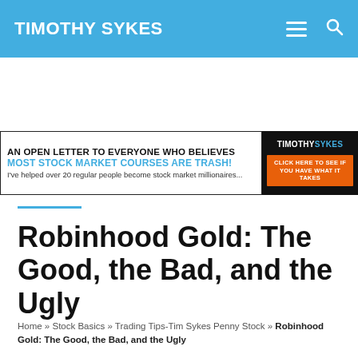TIMOTHY SYKES
[Figure (infographic): Promotional banner ad: 'AN OPEN LETTER TO EVERYONE WHO BELIEVES MOST STOCK MARKET COURSES ARE TRASH! I've helped over 20 regular people become stock market millionaires...' with Timothy Sykes branding and orange call-to-action button 'CLICK HERE TO SEE IF YOU HAVE WHAT IT TAKES']
Robinhood Gold: The Good, the Bad, and the Ugly
Home » Stock Basics » Trading Tips-Tim Sykes Penny Stock » Robinhood Gold: The Good, the Bad, and the Ugly